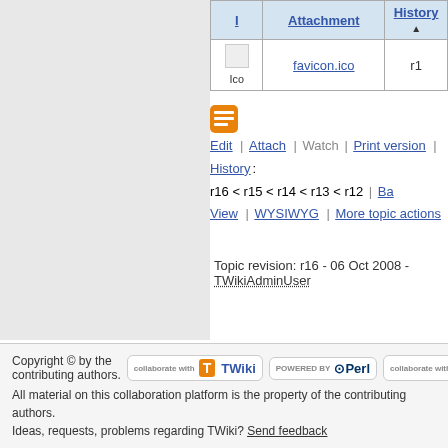| I | Attachment | History |
| --- | --- | --- |
| Ico | favicon.ico | r1 |
[Figure (screenshot): Orange TWiki action icon]
Edit | Attach | Watch | Print version | History: r16 < r15 < r14 < r13 < r12 | Ba... View | WYSIWYG | More topic actions
Topic revision: r16 - 06 Oct 2008 - TWikiAdminUser
Copyright © by the contributing authors. All material on this collaboration platform is the property of the contributing authors. Ideas, requests, problems regarding TWiki? Send feedback